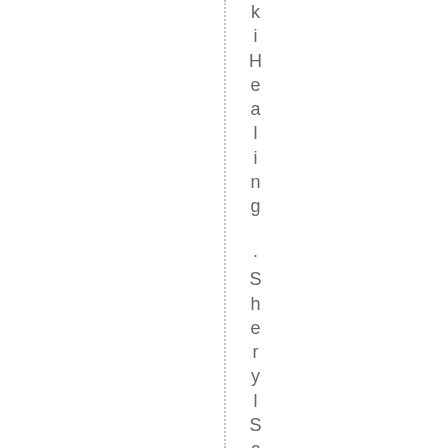ki Healing · Sheryl Schlameuss